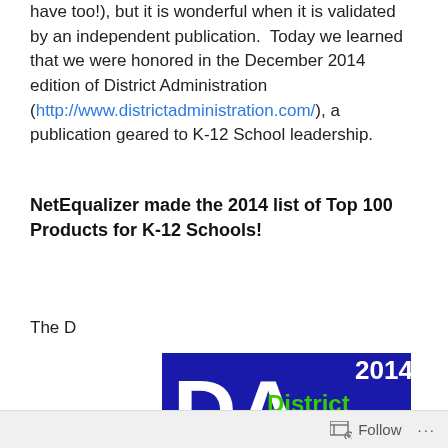have too!), but it is wonderful when it is validated by an independent publication.  Today we learned that we were honored in the December 2014 edition of District Administration (http://www.districtadministration.com/), a publication geared to K-12 School leadership.
NetEqualizer made the 2014 list of Top 100 Products for K-12 Schools!
The D
[Figure (logo): District Administration 2014 TOP 100 badge/logo. Blue background with white 'DA' letters on left, green text 'District Administration', white '2014' in top right. Large white 'TOP' text and partial '100' text visible below.]
Follow ···